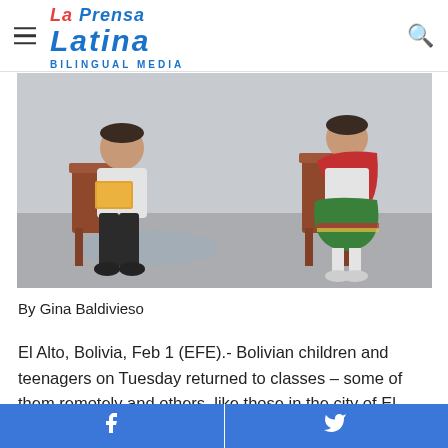LA PRENSA LATINA BILINGUAL MEDIA
[Figure (photo): Two children in traditional Bolivian dress sitting on wooden chairs outdoors. The boy on the left wears black pants and holds a book. The girl on the right wears a colorful traditional outfit with a red shawl and green skirt.]
By Gina Baldivieso
El Alto, Bolivia, Feb 1 (EFE).- Bolivian children and teenagers on Tuesday returned to classes – some of them remotely and others, like those in the city of El Alto, in person and with biosafety measures against Covid-19 in place including